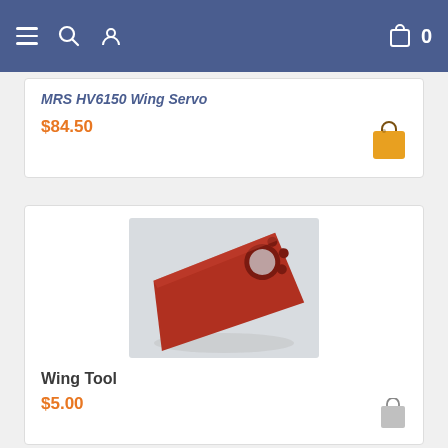Navigation bar with menu, search, user, cart (0)
MRS HV6150 Wing Servo
$84.50
Wing Tool
$5.00
[Figure (photo): Red wing tool made of plastic/composite material, trapezoidal shape with circular hole and smaller holes near one edge, photographed on light background]